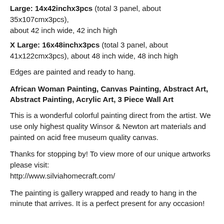Large: 14x42inchx3pcs (total 3 panel, about 35x107cmx3pcs), about 42 inch wide, 42 inch high
X Large: 16x48inchx3pcs (total 3 panel, about 41x122cmx3pcs), about 48 inch wide, 48 inch high
Edges are painted and ready to hang.
African Woman Painting, Canvas Painting, Abstract Art, Abstract Painting, Acrylic Art, 3 Piece Wall Art
This is a wonderful colorful painting direct from the artist. We use only highest quality Winsor & Newton art materials and painted on acid free museum quality canvas.
Thanks for stopping by! To view more of our unique artworks please visit:
http://www.silviahomecraft.com/
The painting is gallery wrapped and ready to hang in the minute that arrives. It is a perfect present for any occasion!